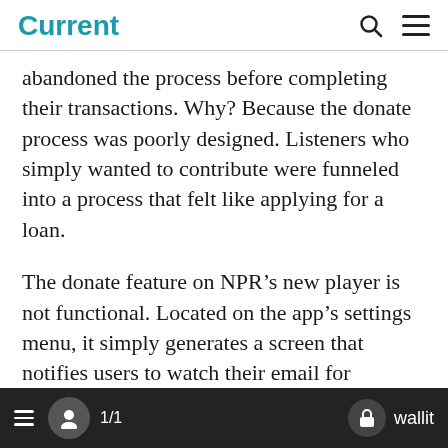Current
abandoned the process before completing their transactions. Why? Because the donate process was poorly designed. Listeners who simply wanted to contribute were funneled into a process that felt like applying for a loan.
The donate feature on NPR’s new player is not functional. Located on the app’s settings menu, it simply generates a screen that notifies users to watch their email for
1/1  wallit